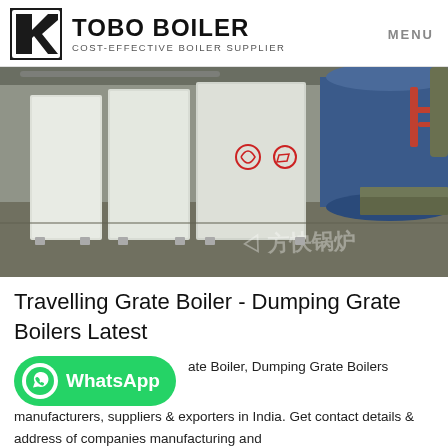TOBO BOILER | COST-EFFECTIVE BOILER SUPPLIER | MENU
[Figure (photo): Industrial boiler equipment inside a facility — white metal cabinet-style gas boiler units in the foreground, and a large blue cylindrical boiler in the background. Chinese watermark text visible in the lower right.]
Travelling Grate Boiler - Dumping Grate Boilers Latest
[Figure (other): WhatsApp contact button (green rounded rectangle with WhatsApp phone icon)]
ate Boiler, Dumping Grate Boilers manufacturers, suppliers & exporters in India. Get contact details & address of companies manufacturing and